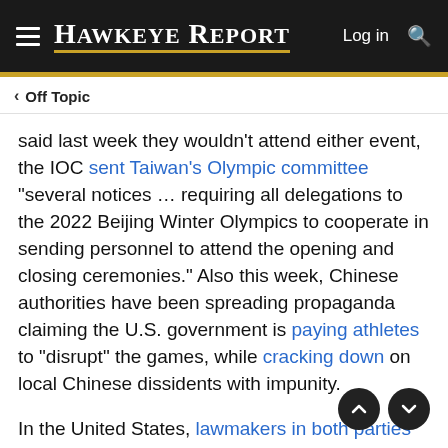Hawkeye Report — Log in
< Off Topic
said last week they wouldn't attend either event, the IOC sent Taiwan's Olympic committee "several notices ... requiring all delegations to the 2022 Beijing Winter Olympics to cooperate in sending personnel to attend the opening and closing ceremonies." Also this week, Chinese authorities have been spreading propaganda claiming the U.S. government is paying athletes to "disrupt" the games, while cracking down on local Chinese dissidents with impunity.
In the United States, lawmakers in both parties are concerned that the IOC is not doing enough to protect athletes inside China. Also, the research group Citizen Lab